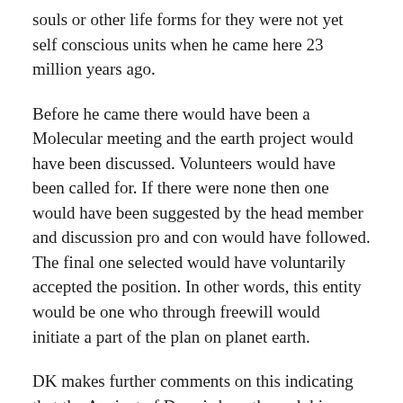souls or other life forms for they were not yet self conscious units when he came here 23 million years ago.
Before he came there would have been a Molecular meeting and the earth project would have been discussed. Volunteers would have been called for. If there were none then one would have been suggested by the head member and discussion pro and con would have followed. The final one selected would have voluntarily accepted the position. In other words, this entity would be one who through freewill would initiate a part of the plan on planet earth.
DK makes further comments on this indicating that the Ancient of Days is here through his own initiative, yet fulfilling the will of greater lives.
The leader of the greater Molecules would have obtained position by either initiation or election and sustained by the freewill of the group.